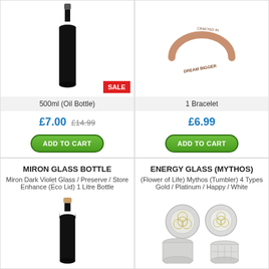[Figure (photo): Dark glass 500ml oil bottle with grey cap, SALE badge in red]
500ml (Oil Bottle)
£7.00  £14.99
ADD TO CART
[Figure (photo): Rose gold open cuff bracelet engraved with DREAM BIGGER]
1 Bracelet
£6.99
ADD TO CART
MIRON GLASS BOTTLE
Miron Dark Violet Glass / Preserve / Store Enhance (Eco Lid) 1 Litre Bottle
[Figure (photo): Dark 1 litre Miron glass bottle with cork stopper]
ENERGY GLASS (MYTHOS)
(Flower of Life) Mythos (Tumbler) 4 Types Gold / Platinum / Happy / White
[Figure (photo): Four frosted glass tumblers with Flower of Life pattern, two shown from top and two from side]